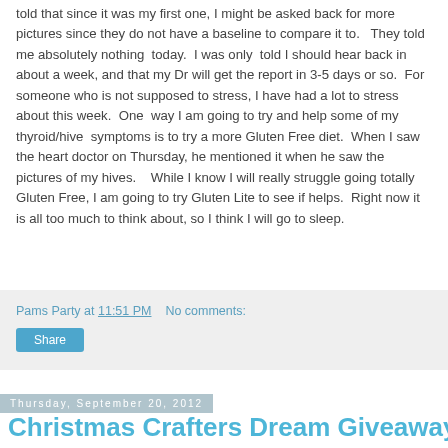told that since it was my first one, I might be asked back for more pictures since they do not have a baseline to compare it to.   They told me absolutely nothing  today.  I was only  told I should hear back in about a week, and that my Dr will get the report in 3-5 days or so.  For someone who is not supposed to stress, I have had a lot to stress about this week.  One  way I am going to try and help some of my  thyroid/hive  symptoms is to try a more Gluten Free diet.  When I saw the heart doctor on Thursday, he mentioned it when he saw the pictures of my hives.    While I know I will really struggle going totally Gluten Free, I am going to try Gluten Lite to see if helps.  Right now it is all too much to think about, so I think I will go to sleep.
Pams Party at 11:51 PM   No comments:
Share
Thursday, September 20, 2012
Christmas Crafters Dream Giveaway